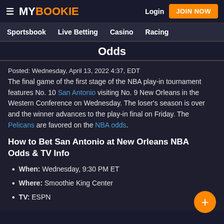MY BOOKIE | Login | JOIN NOW | Sportsbook | Live Betting | Casino | Racing
Odds
Posted: Wednesday, April 13, 2022 4:37, EDT
The final game of the first stage of the NBA play-in tournament features No. 10 San Antonio visiting No. 9 New Orleans in the Western Conference on Wednesday. The loser's season is over and the winner advances to the play-in final on Friday. The Pelicans are favored on the NBA odds.
How to Bet San Antonio at New Orleans NBA Odds & TV Info
When: Wednesday, 9:30 PM ET
Where: Smoothie King Center
TV: ESPN